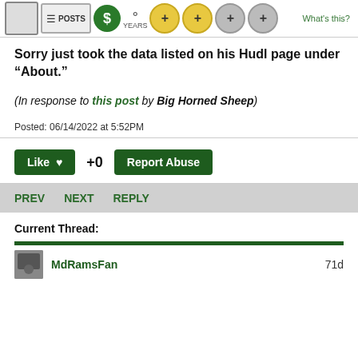What's this?
Sorry just took the data listed on his Hudl page under “About.”
(In response to this post by Big Horned Sheep)
Posted: 06/14/2022 at 5:52PM
Like +0 Report Abuse
PREV  NEXT  REPLY
Current Thread:
MdRamsFan  71d